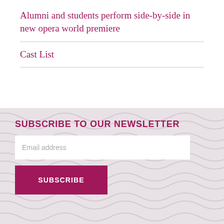Alumni and students perform side-by-side in new opera world premiere
Cast List
[Figure (illustration): Wavy decorative background pattern in light grey/beige tones]
SUBSCRIBE TO OUR NEWSLETTER
Email address
SUBSCRIBE